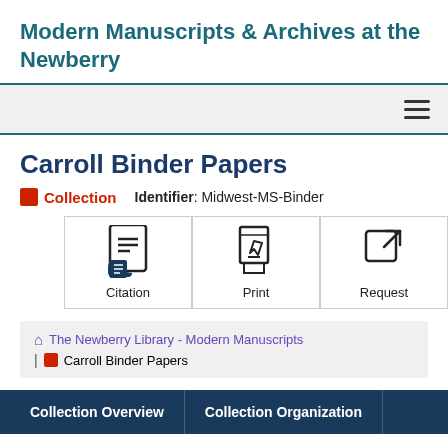Modern Manuscripts & Archives at the Newberry
Carroll Binder Papers
Collection  Identifier: Midwest-MS-Binder
[Figure (screenshot): Three action buttons: Citation (book icon), Print (PDF icon), Request (external link icon)]
The Newberry Library - Modern Manuscripts | Carroll Binder Papers
Collection Overview  Collection Organization